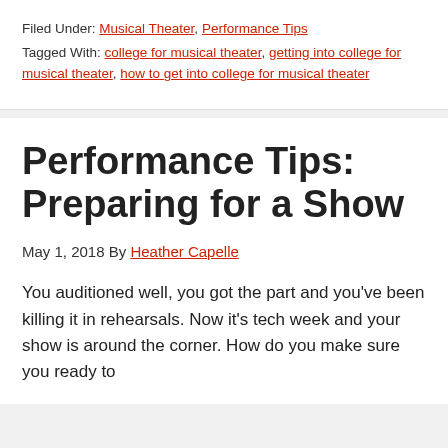Filed Under: Musical Theater, Performance Tips
Tagged With: college for musical theater, getting into college for musical theater, how to get into college for musical theater
Performance Tips: Preparing for a Show
May 1, 2018 By Heather Capelle
You auditioned well, you got the part and you've been killing it in rehearsals. Now it's tech week and your show is around the corner. How do you make sure you ready to